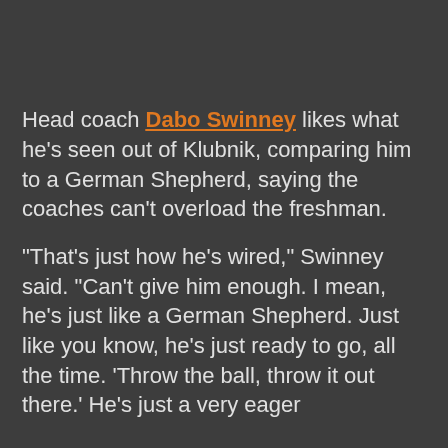Head coach Dabo Swinney likes what he's seen out of Klubnik, comparing him to a German Shepherd, saying the coaches can't overload the freshman.
"That's just how he's wired," Swinney said. "Can't give him enough. I mean, he's just like a German Shepherd. Just like you know, he's just ready to go, all the time. 'Throw the ball, throw it out there.' He's just a very eager